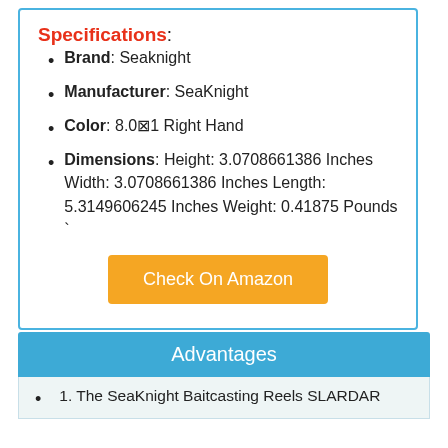Specifications:
Brand: Seaknight
Manufacturer: SeaKnight
Color: 8.0⊠1 Right Hand
Dimensions: Height: 3.0708661386 Inches Width: 3.0708661386 Inches Length: 5.3149606245 Inches Weight: 0.41875 Pounds `
Check On Amazon
Advantages
1. The SeaKnight Baitcasting Reels SLARDAR